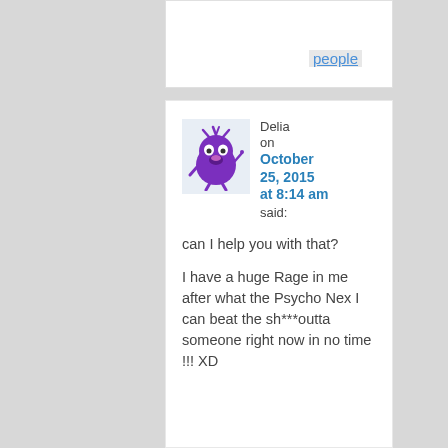people
[Figure (illustration): Purple cartoon monster avatar with spiky hair and wide eyes, on a light blue background]
Delia on October 25, 2015 at 8:14 am said:
can I help you with that?

I have a huge Rage in me after what the Psycho Nex I can beat the sh***outta someone right now in no time !!! XD